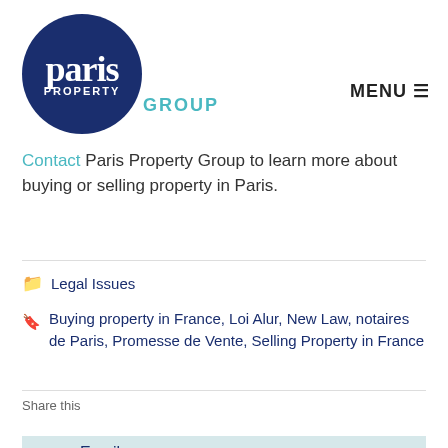[Figure (logo): Paris Property Group circular dark navy logo with 'paris' in large white serif font and 'PROPERTY' in smaller white caps below, with 'GROUP' in teal to the right outside the circle]
MENU ≡
Contact Paris Property Group to learn more about buying or selling property in Paris.
Legal Issues
Buying property in France, Loi Alur, New Law, notaires de Paris, Promesse de Vente, Selling Property in France
Share this
Email
Facebook